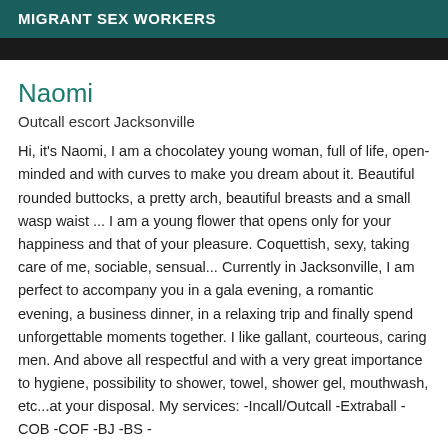MIGRANT SEX WORKERS
Naomi
Outcall escort Jacksonville
Hi, it's Naomi, I am a chocolatey young woman, full of life, open-minded and with curves to make you dream about it. Beautiful rounded buttocks, a pretty arch, beautiful breasts and a small wasp waist ... I am a young flower that opens only for your happiness and that of your pleasure. Coquettish, sexy, taking care of me, sociable, sensual... Currently in Jacksonville, I am perfect to accompany you in a gala evening, a romantic evening, a business dinner, in a relaxing trip and finally spend unforgettable moments together. I like gallant, courteous, caring men. And above all respectful and with a very great importance to hygiene, possibility to shower, towel, shower gel, mouthwash, etc...at your disposal. My services: -Incall/Outcall -Extraball -COB -COF -BJ -BS -